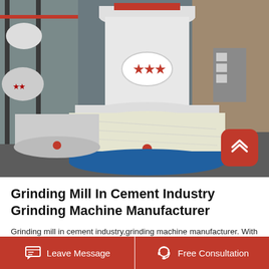[Figure (photo): Industrial photo of large white grinding mill machines with red star logo/branding, wrapped in protective packaging, inside a factory/warehouse setting. Metal shelving racks on the left, control panel on the right. Blue circular base visible at bottom.]
Grinding Mill In Cement Industry Grinding Machine Manufacturer
Grinding mill in cement industry,grinding machine manufacturer. With the unprecedented development of cement industry, the development of grinding machine industry is very quick. The legislative process system of
Leave Message   Free Consultation